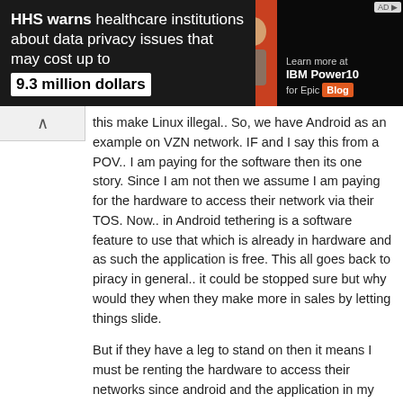[Figure (screenshot): Ad banner: HHS warns healthcare institutions about data privacy issues that may cost up to 9.3 million dollars. Image of man with financial charts. IBM Power10 for Epic Blog advertisement.]
this make Linux illegal.. So, we have Android as an example on VZN network. IF and I say this from a POV.. I am paying for the software then its one story. Since I am not then we assume I am paying for the hardware to access their network via their TOS. Now.. in Android tethering is a software feature to use that which is already in hardware and as such the application is free. This all goes back to piracy in general.. it could be stopped sure but why would they when they make more in sales by letting things slide.
But if they have a leg to stand on then it means I must be renting the hardware to access their networks since android and the application in my case is open and if that is the case then when they cancel my contract (IF I were tethering) they can pay me a premium and prorate the value of my device.
Reply
Kylw
March 18, 2011
If you have a capped data plan then I don't see why